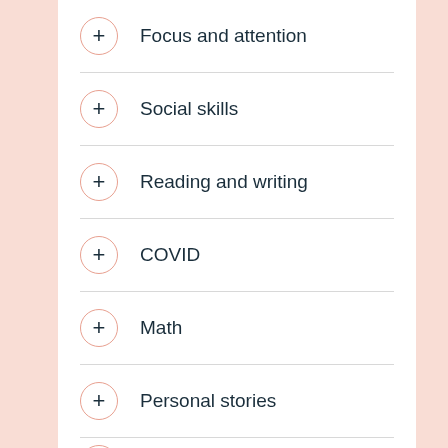Focus and attention
Social skills
Reading and writing
COVID
Math
Personal stories
Signs and symptoms